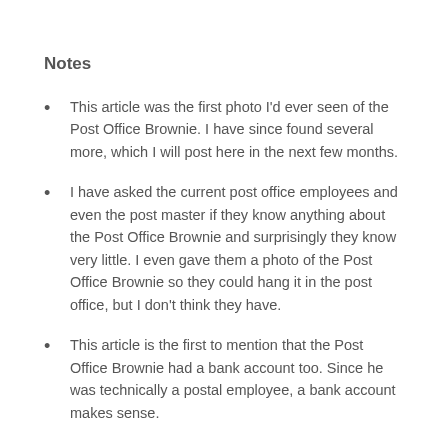Notes
This article was the first photo I'd ever seen of the Post Office Brownie. I have since found several more, which I will post here in the next few months.
I have asked the current post office employees and even the post master if they know anything about the Post Office Brownie and surprisingly they know very little. I even gave them a photo of the Post Office Brownie so they could hang it in the post office, but I don't think they have.
This article is the first to mention that the Post Office Brownie had a bank account too. Since he was technically a postal employee, a bank account makes sense.